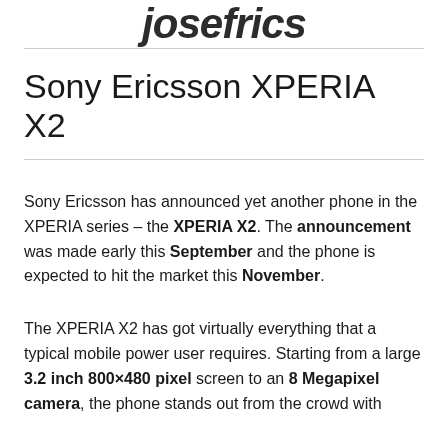josefrics
Sony Ericsson XPERIA X2
Sony Ericsson has announced yet another phone in the XPERIA series – the XPERIA X2. The announcement was made early this September and the phone is expected to hit the market this November.
The XPERIA X2 has got virtually everything that a typical mobile power user requires. Starting from a large 3.2 inch 800×480 pixel screen to an 8 Megapixel camera, the phone stands out from the crowd with